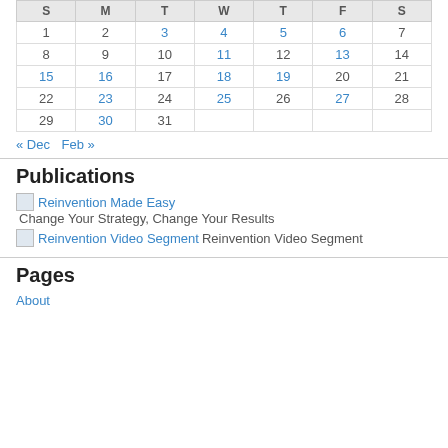| S | M | T | W | T | F | S |
| --- | --- | --- | --- | --- | --- | --- |
| 1 | 2 | 3 | 4 | 5 | 6 | 7 |
| 8 | 9 | 10 | 11 | 12 | 13 | 14 |
| 15 | 16 | 17 | 18 | 19 | 20 | 21 |
| 22 | 23 | 24 | 25 | 26 | 27 | 28 |
| 29 | 30 | 31 |  |  |  |  |
« Dec   Feb »
Publications
Reinvention Made Easy Change Your Strategy, Change Your Results
Reinvention Video Segment Reinvention Video Segment
Pages
About